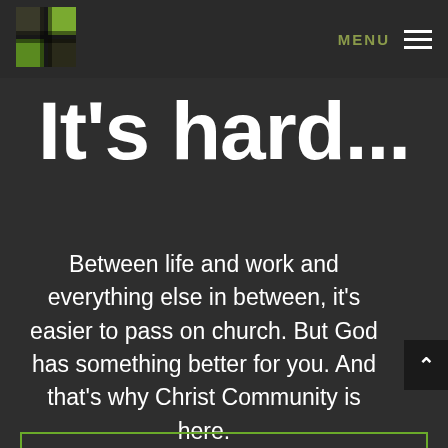[Figure (logo): Christ Community church logo: cross shape made of green and dark squares]
MENU ☰
It's hard...
Between life and work and everything else in between, it's easier to pass on church. But God has something better for you. And that's why Christ Community is here.